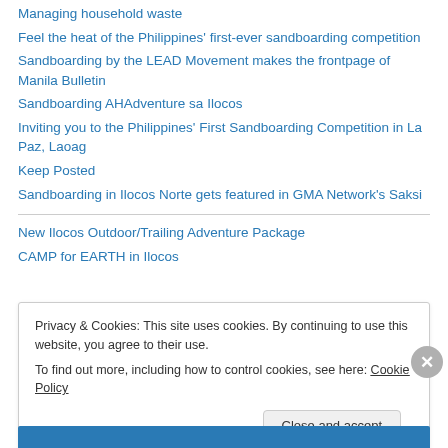Managing household waste
Feel the heat of the Philippines' first-ever sandboarding competition
Sandboarding by the LEAD Movement makes the frontpage of Manila Bulletin
Sandboarding AHAdventure sa Ilocos
Inviting you to the Philippines' First Sandboarding Competition in La Paz, Laoag
Keep Posted
Sandboarding in Ilocos Norte gets featured in GMA Network's Saksi
New Ilocos Outdoor/Trailing Adventure Package
CAMP for EARTH in Ilocos
Privacy & Cookies: This site uses cookies. By continuing to use this website, you agree to their use. To find out more, including how to control cookies, see here: Cookie Policy
Close and accept